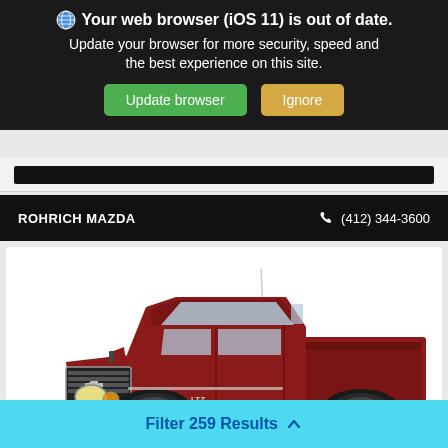Your web browser (iOS 11) is out of date. Update your browser for more security, speed and the best experience on this site.
[Figure (screenshot): Browser update notification banner with Update browser (green) and Ignore (orange/tan) buttons on dark background]
[Figure (screenshot): Dark search bar area with black filled bar element]
ROHRICH MAZDA   (412) 344-3600
[Figure (photo): Red Chevrolet Silverado LTZ pickup truck shown from front-right angle against white background]
Filter 259 Results